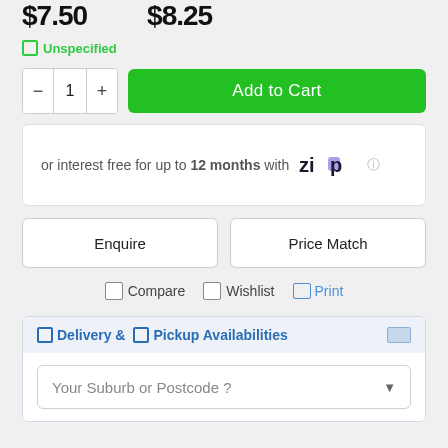$7.50  $8.25
Unspecified
1  Add to Cart
or interest free for up to 12 months with Zip
Enquire  Price Match
Compare  Wishlist  Print
Delivery & Pickup Availabilities
Your Suburb or Postcode ?